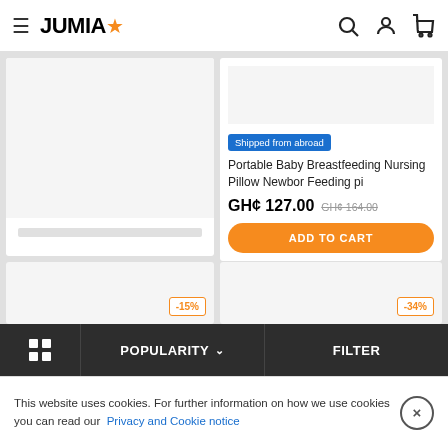JUMIA
[Figure (screenshot): Left product card - blank/loading product image area with blue bar placeholder]
[Figure (screenshot): Right product card showing Portable Baby Breastfeeding Nursing Pillow with 'Shipped from abroad' badge, price GH¢ 127.00 (was GH¢ 164.00) and ADD TO CART button]
Shipped from abroad
Portable Baby Breastfeeding Nursing Pillow Newbor Feeding pi
GH¢ 127.00 GH¢ 164.00
ADD TO CART
-15%
-34%
POPULARITY ∨  FILTER
This website uses cookies. For further information on how we use cookies you can read our Privacy and Cookie notice